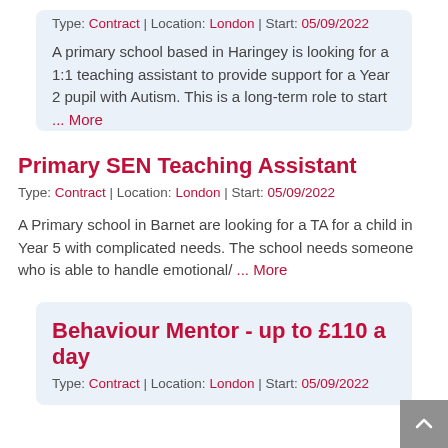Type: Contract | Location: London | Start: 05/09/2022
A primary school based in Haringey is looking for a 1:1 teaching assistant to provide support for a Year 2 pupil with Autism. This is a long-term role to start ... More
Primary SEN Teaching Assistant
Type: Contract | Location: London | Start: 05/09/2022
A Primary school in Barnet are looking for a TA for a child in Year 5 with complicated needs. The school needs someone who is able to handle emotional/ ... More
Behaviour Mentor - up to £110 a day
Type: Contract | Location: London | Start: 05/09/2022